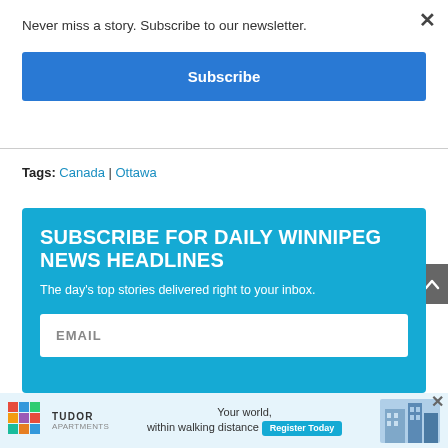Never miss a story. Subscribe to our newsletter.
Subscribe
Tags: Canada | Ottawa
SUBSCRIBE FOR DAILY WINNIPEG NEWS HEADLINES
The day's top stories delivered right to your inbox.
EMAIL
[Figure (infographic): Tudor Apartments advertisement: 'Your world, within walking distance. Register Today' with building image and colorful mosaic logo]
×